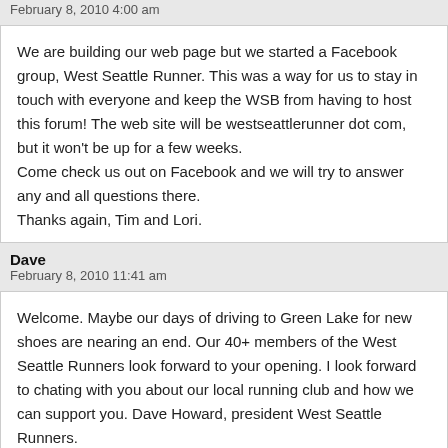February 8, 2010 4:00 am
We are building our web page but we started a Facebook group, West Seattle Runner. This was a way for us to stay in touch with everyone and keep the WSB from having to host this forum! The web site will be westseattlerunner dot com, but it won't be up for a few weeks.
Come check us out on Facebook and we will try to answer any and all questions there.
Thanks again, Tim and Lori.
Dave
February 8, 2010 11:41 am
Welcome. Maybe our days of driving to Green Lake for new shoes are nearing an end. Our 40+ members of the West Seattle Runners look forward to your opening. I look forward to chating with you about our local running club and how we can support you. Dave Howard, president West Seattle Runners.
Sarah
February 8, 2010 3:49 pm